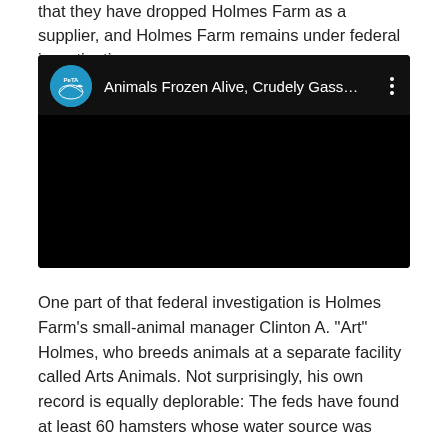that they have dropped Holmes Farm as a supplier, and Holmes Farm remains under federal investigation.
[Figure (screenshot): YouTube video embed with PETA logo and title 'Animals Frozen Alive, Crudely Gass...' with black video area and three-dots menu]
One part of that federal investigation is Holmes Farm’s small-animal manager Clinton A. “Art” Holmes, who breeds animals at a separate facility called Arts Animals. Not surprisingly, his own record is equally deplorable: The feds have found at least 60 hamsters whose water source was